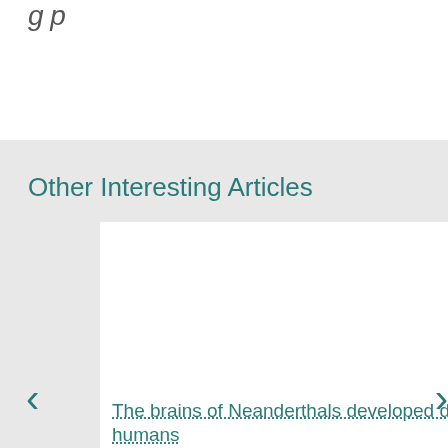Other Interesting Articles
[Figure (photo): White rectangular card/image placeholder area for an article about Neanderthal brains]
The brains of Neanderthals developed differently from those of modern humans